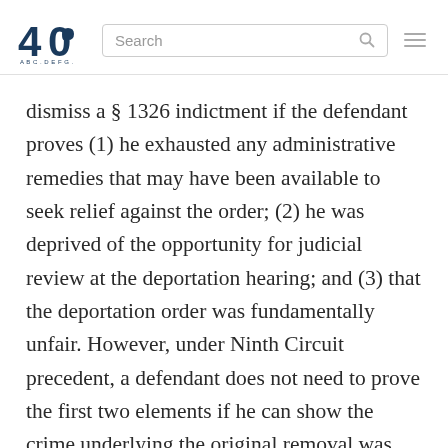40 [logo] Search [search bar] [hamburger menu]
dismiss a § 1326 indictment if the defendant proves (1) he exhausted any administrative remedies that may have been available to seek relief against the order; (2) he was deprived of the opportunity for judicial review at the deportation hearing; and (3) that the deportation order was fundamentally unfair. However, under Ninth Circuit precedent, a defendant does not need to prove the first two elements if he can show the crime underlying the original removal was improperly characterized as an aggravated felony and